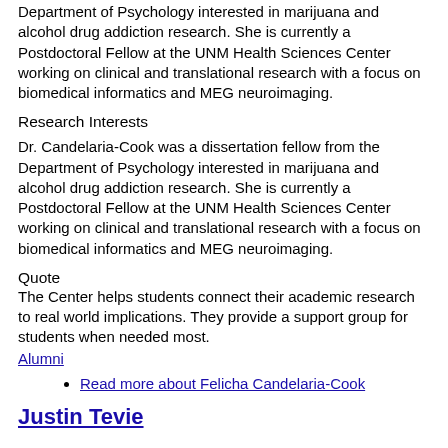Department of Psychology interested in marijuana and alcohol drug addiction research. She is currently a Postdoctoral Fellow at the UNM Health Sciences Center working on clinical and translational research with a focus on biomedical informatics and MEG neuroimaging.
Research Interests
Dr. Candelaria-Cook was a dissertation fellow from the Department of Psychology interested in marijuana and alcohol drug addiction research. She is currently a Postdoctoral Fellow at the UNM Health Sciences Center working on clinical and translational research with a focus on biomedical informatics and MEG neuroimaging.
Quote
The Center helps students connect their academic research to real world implications. They provide a support group for students when needed most.
Alumni
Read more about Felicha Candelaria-Cook
Justin Tevie